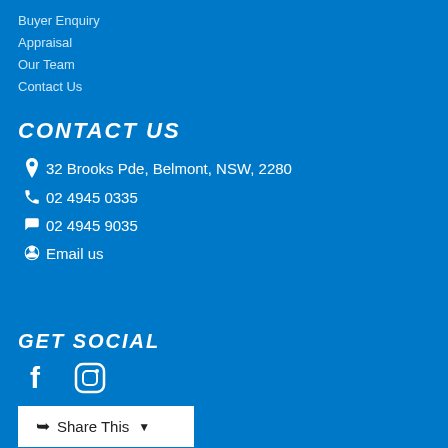Buyer Enquiry
Appraisal
Our Team
Contact Us
CONTACT US
32 Brooks Pde, Belmont, NSW, 2280
02 4945 0335
02 4945 9035
Email us
GET SOCIAL
[Figure (illustration): Facebook and Instagram social media icons]
Share This
[Figure (logo): Independent Alliance Australia Member badge - red circular logo]